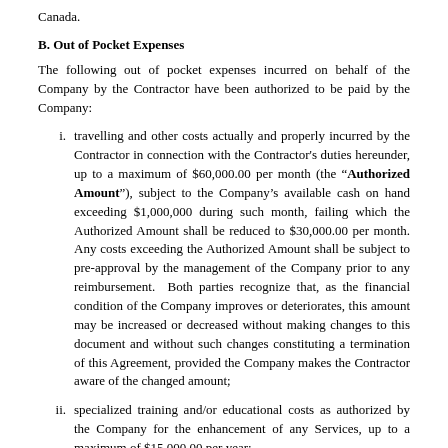Canada.
B. Out of Pocket Expenses
The following out of pocket expenses incurred on behalf of the Company by the Contractor have been authorized to be paid by the Company:
i. travelling and other costs actually and properly incurred by the Contractor in connection with the Contractor's duties hereunder, up to a maximum of $60,000.00 per month (the "Authorized Amount"), subject to the Company's available cash on hand exceeding $1,000,000 during such month, failing which the Authorized Amount shall be reduced to $30,000.00 per month. Any costs exceeding the Authorized Amount shall be subject to pre-approval by the management of the Company prior to any reimbursement. Both parties recognize that, as the financial condition of the Company improves or deteriorates, this amount may be increased or decreased without making changes to this document and without such changes constituting a termination of this Agreement, provided the Company makes the Contractor aware of the changed amount;
ii. specialized training and/or educational costs as authorized by the Company for the enhancement of any Services, up to a maximum of $15,000.00 per year;
iii. stationery and printing costs;